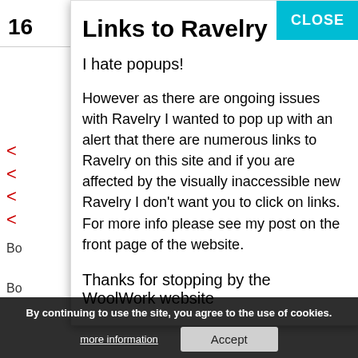Links to Ravelry
I hate popups!
However as there are ongoing issues with Ravelry I wanted to pop up with an alert that there are numerous links to Ravelry on this site and if you are affected by the visually inaccessible new Ravelry I don't want you to click on links. For more info please see my post on the front page of the website.
Thanks for stopping by the WoolWork website
Corrie
October 13, 2013
I love Tickle Me — JillyBean Yarn (Ph... are gorgeous. Thank you!
By continuing to use the site, you agree to the use of cookies.
more information
Accept